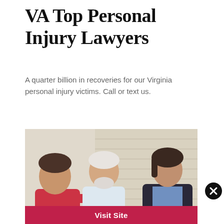VA Top Personal Injury Lawyers
A quarter billion in recoveries for our Virginia personal injury victims. Call or text us.
[Figure (photo): Elderly man on crutches with a woman in red shirt on his left and a professional woman in a dark blazer holding a clipboard on his right, consulting in an indoor setting.]
Visit Site